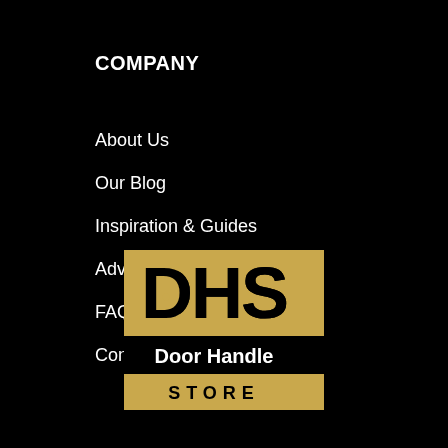COMPANY
About Us
Our Blog
Inspiration & Guides
Advanced Search
FAQ's
Contact Us
[Figure (logo): DHS Door Handle Store logo — gold square with DHS letters in black, below 'Door Handle' text in white bold, and 'STORE' text in black on gold background]